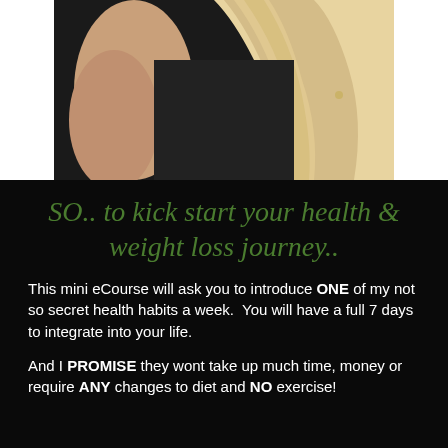[Figure (photo): Partial photo of a woman with long blonde hair wearing a dark top, cropped to show shoulders and hands]
SO.. to kick start your health & weight loss journey..
This mini eCourse will ask you to introduce ONE of my not so secret health habits a week.  You will have a full 7 days to integrate into your life.
And I PROMISE they wont take up much time, money or require ANY changes to diet and NO exercise!